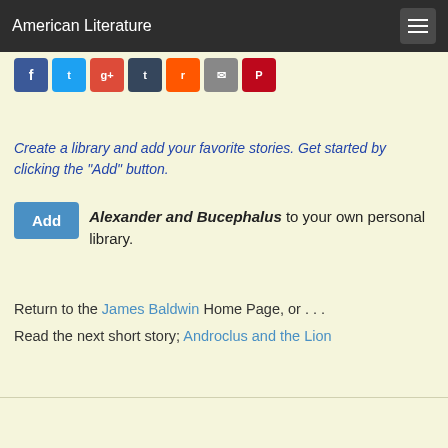American Literature
[Figure (screenshot): Social media sharing buttons: Facebook, Twitter, Google+, Tumblr, Reddit, Email, Pinterest]
Create a library and add your favorite stories. Get started by clicking the "Add" button.
Add Alexander and Bucephalus to your own personal library.
Return to the James Baldwin Home Page, or . . .
Read the next short story; Androclus and the Lion